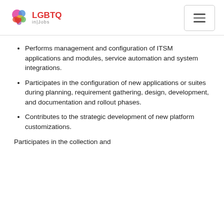LGBTQ in|Jobs
Performs management and configuration of ITSM applications and modules, service automation and system integrations.
Participates in the configuration of new applications or suites during planning, requirement gathering, design, development, and documentation and rollout phases.
Contributes to the strategic development of new platform customizations.
Participates in the collection and